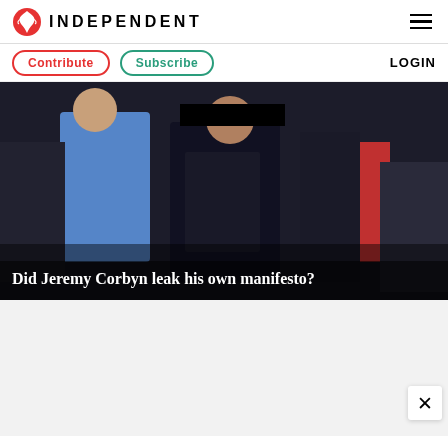INDEPENDENT
Contribute | Subscribe | LOGIN
[Figure (photo): Photograph of people at an event, showing a man in dark suit looking upward, with others around him. Overlay text reads: Did Jeremy Corbyn leak his own manifesto?]
Did Jeremy Corbyn leak his own manifesto?